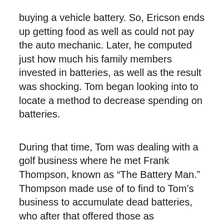buying a vehicle battery. So, Ericson ends up getting food as well as could not pay the auto mechanic. Later, he computed just how much his family members invested in batteries, as well as the result was shocking. Tom began looking into to locate a method to decrease spending on batteries.
During that time, Tom was dealing with a golf business where he met Frank Thompson, known as “The Battery Man.” Thompson made use of to find to Tom’s business to accumulate dead batteries, who after that offered those as reconditioned. Tom later on motivated Thompson to share the tricks of reconditioning the batteries.